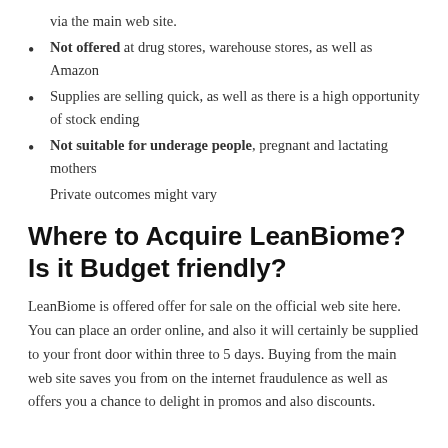via the main web site.
Not offered at drug stores, warehouse stores, as well as Amazon
Supplies are selling quick, as well as there is a high opportunity of stock ending
Not suitable for underage people, pregnant and lactating mothers
Private outcomes might vary
Where to Acquire LeanBiome? Is it Budget friendly?
LeanBiome is offered offer for sale on the official web site here. You can place an order online, and also it will certainly be supplied to your front door within three to 5 days. Buying from the main web site saves you from on the internet fraudulence as well as offers you a chance to delight in promos and also discounts.